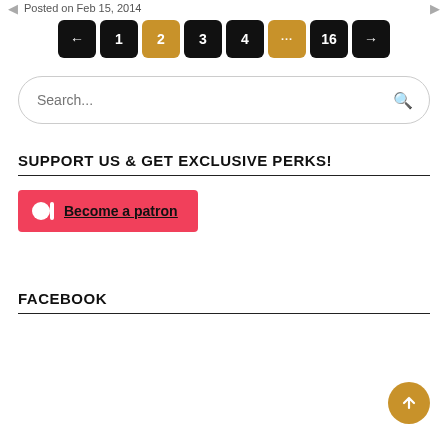Posted on Feb 15, 2014
[Figure (other): Pagination navigation with buttons: left arrow, 1, 2 (active/highlighted), 3, 4, ellipsis (highlighted), 16, right arrow]
[Figure (other): Search bar with placeholder 'Search...' and magnifying glass icon]
SUPPORT US & GET EXCLUSIVE PERKS!
[Figure (other): Red Patreon button with Patreon logo icon and text 'Become a patron']
FACEBOOK